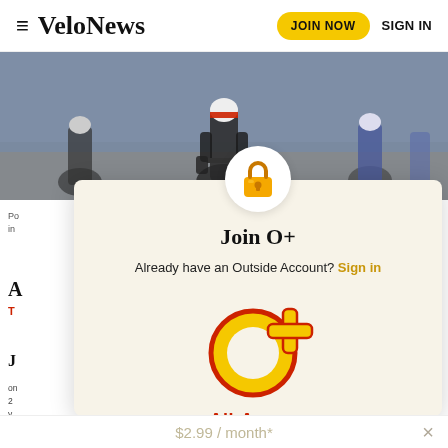≡ VeloNews  JOIN NOW  SIGN IN
[Figure (photo): Cycling race photo showing cyclists in close formation, blurred background]
[Figure (infographic): VeloNews paywall modal with lock icon, O+ logo, Join O+ heading, Already have an Outside Account? Sign in, All-Access text, $2.99/month price bar]
Join O+
Already have an Outside Account? Sign in
All-Access
$2.99 / month*  ×